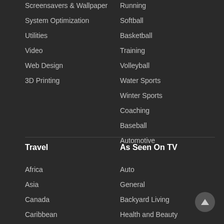Screensavers & Wallpaper
System Optimization
Utilities
Video
Web Design
3D Printing
Running
Softball
Basketball
Training
Volleyball
Water Sports
Winter Sports
Coaching
Baseball
Automotive
Travel
As Seen On TV
Africa
Asia
Canada
Caribbean
Europe
Auto
General
Backyard Living
Health and Beauty
Kitchen Tools and Gadgets